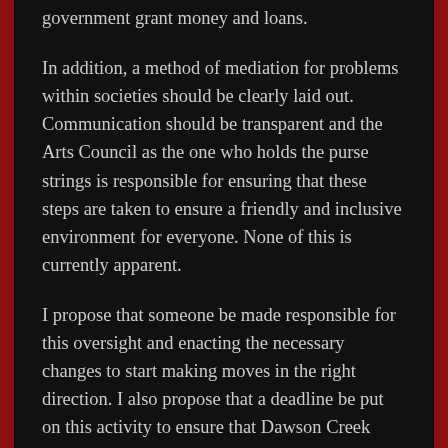government grant money and loans.
In addition, a method of mediation for problems within societies should be clearly laid out. Communication should be transparent and the Arts Council as the one who holds the purse strings is responsible for ensuring that these steps are taken to ensure a friendly and inclusive environment for everyone. None of this is currently apparent.
I propose that someone be made responsible for this oversight and enacting the necessary changes to start making moves in the right direction. I also propose that a deadline be put on this activity to ensure that Dawson Creek doesn't humiliate itself on the 75th anniversary of the Mile Zero celebrations by showing itself to be letting down its vulnerable population. Looking to the past and how the black population and the native population has